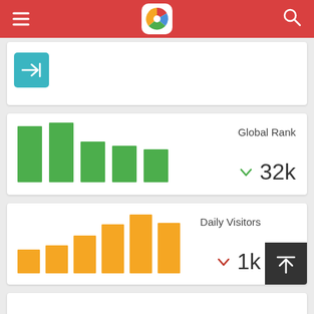App navigation bar with logo and search icon
[Figure (screenshot): Teal/cyan navigation button with right-arrow icon]
[Figure (bar-chart): Global Rank]
Global Rank
32k
[Figure (bar-chart): Daily Visitors]
Daily Visitors
1k